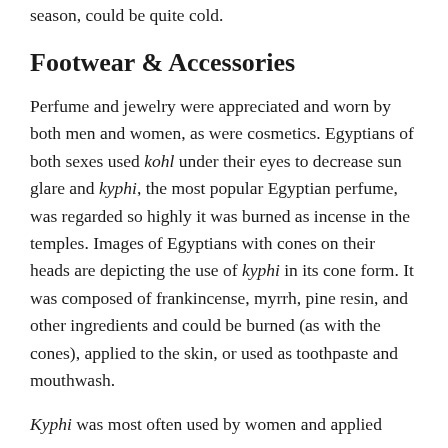season, could be quite cold.
Footwear & Accessories
Perfume and jewelry were appreciated and worn by both men and women, as were cosmetics. Egyptians of both sexes used kohl under their eyes to decrease sun glare and kyphi, the most popular Egyptian perfume, was regarded so highly it was burned as incense in the temples. Images of Egyptians with cones on their heads are depicting the use of kyphi in its cone form. It was composed of frankincense, myrrh, pine resin, and other ingredients and could be burned (as with the cones), applied to the skin, or used as toothpaste and mouthwash.
Kyphi was most often used by women and applied